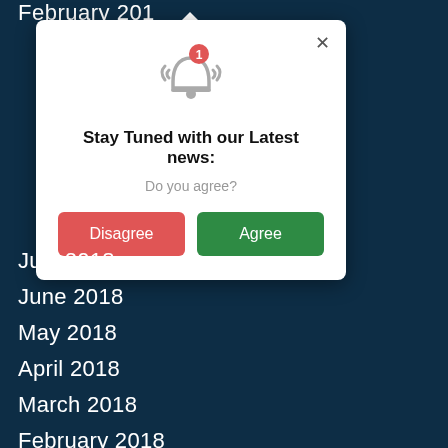February 2019
[Figure (screenshot): A modal popup dialog with a notification bell icon (with red badge showing '1'), title 'Stay Tuned with our Latest news:', subtitle 'Do you agree?', and two buttons: 'Disagree' (red) and 'Agree' (green). A close X button is in the top right corner.]
July 2018
June 2018
May 2018
April 2018
March 2018
February 2018